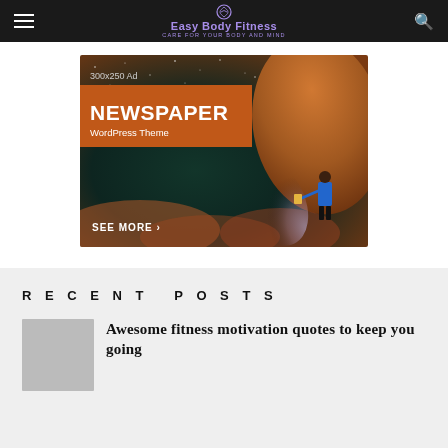Easy Body Fitness — CARE FOR YOUR BODY AND MIND
[Figure (screenshot): Advertisement banner for Newspaper WordPress Theme. Dark background with starry sky, orange/brown rock formation, figure holding lantern. Text: '300x250 Ad', 'NEWSPAPER', 'WordPress Theme', 'SEE MORE >']
Recent Posts
Awesome fitness motivation quotes to keep you going